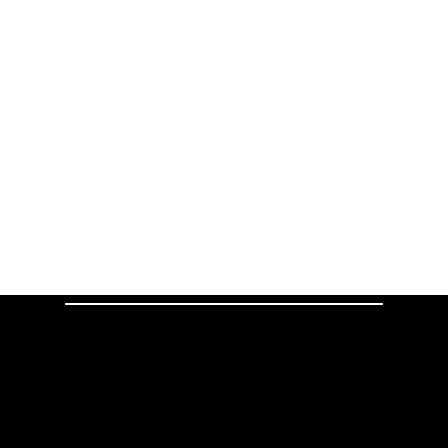[Figure (photo): Large white/blank area occupying the upper portion of the page]
KITCHEN
WARDROBE
SURFACES
HOME LIVING
BATHROOM
APPLIANCES